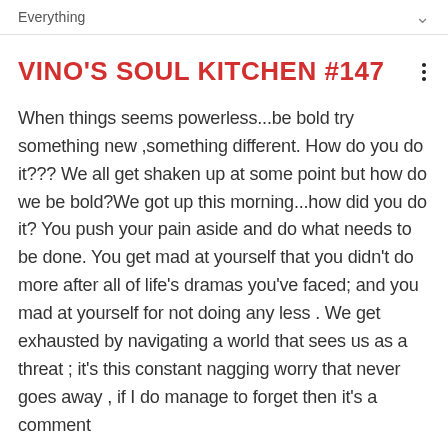Everything
VINO'S SOUL KITCHEN #147
When things seems powerless...be bold try something new ,something different. How do you do it??? We all get shaken up at some point but how do we be bold?We got up this morning...how did you do it? You push your pain aside and do what needs to be done. You get mad at yourself that you didn't do more after all of life's dramas you've faced; and you mad at yourself for not doing any less . We get exhausted by navigating a world that sees us as a threat ; it's this constant nagging worry that never goes away , if I do manage to forget then it's a comment